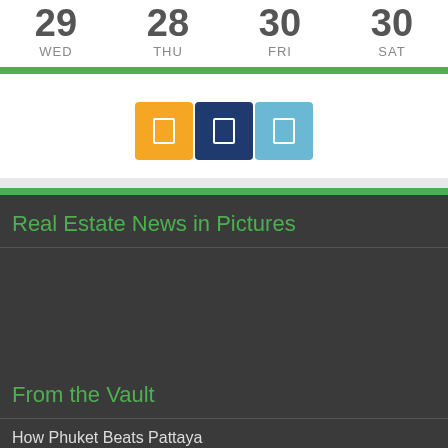| WED | THU | FRI | SAT |
| --- | --- | --- | --- |
| 29 | 28 | 30 | 30 |
[Figure (infographic): Three social media icon buttons: yellow, dark blue, and light blue]
Real Estate News in Pictures
From the Vault
How Phuket Beats Pattaya